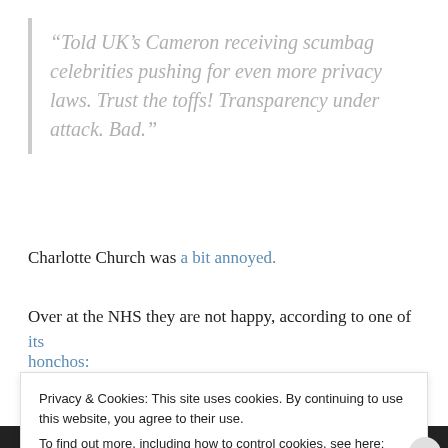“Told UK’s Cameron receiving scumbag celebrities pushing for even more privacy laws. Trust the toffs! Transparency under attack. Bad.”
Charlotte Church was a bit annoyed.
Over at the NHS they are not happy, according to one of its honchos:
Privacy & Cookies: This site uses cookies. By continuing to use this website, you agree to their use.
To find out more, including how to control cookies, see here: Cookie Policy
Close and accept